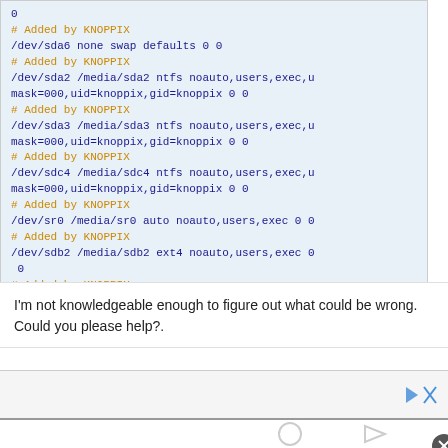0
# Added by KNOPPIX
/dev/sda6 none swap defaults 0 0
# Added by KNOPPIX
/dev/sda2 /media/sda2 ntfs noauto,users,exec,umask=000,uid=knoppix,gid=knoppix 0 0
# Added by KNOPPIX
/dev/sda3 /media/sda3 ntfs noauto,users,exec,umask=000,uid=knoppix,gid=knoppix 0 0
# Added by KNOPPIX
/dev/sdc4 /media/sdc4 ntfs noauto,users,exec,umask=000,uid=knoppix,gid=knoppix 0 0
# Added by KNOPPIX
/dev/sr0 /media/sr0 auto noauto,users,exec 0 0
# Added by KNOPPIX
/dev/sdb2 /media/sdb2 ext4 noauto,users,exec 0 0
# Added by KNOPPIX
/dev/sdd /media/sdd auto noauto,users,exec 0 0
I'm not knowledgeable enough to figure out what could be wrong. Could you please help?.